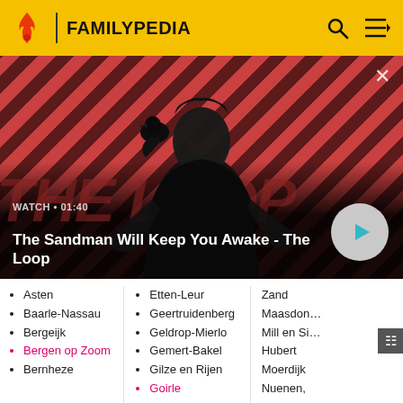FAMILYPEDIA
[Figure (screenshot): Video thumbnail for 'The Sandman Will Keep You Awake - The Loop' showing a dark figure/man with a raven on his shoulder against a red diagonal striped background. Watch duration 01:40 shown. Play button visible.]
WATCH • 01:40
The Sandman Will Keep You Awake - The Loop
Asten
Baarle-Nassau
Bergeijk
Bergen op Zoom
Bernheze
Etten-Leur
Geertruidenberg
Geldrop-Mierlo
Gemert-Bakel
Gilze en Rijen
Goirle
Grave
Zand
Maasdon...
Mill en Si... Hubert
Moerdijk
Nuenen, Gerwen en